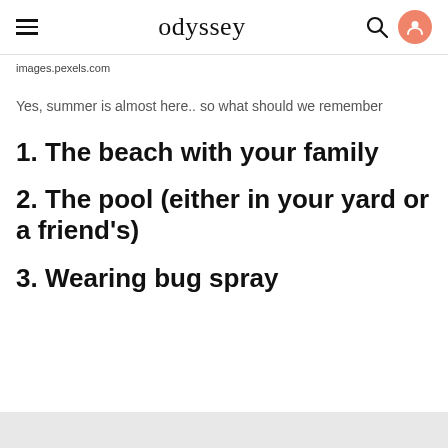odyssey
images.pexels.com
Yes, summer is almost here.. so what should we remember
1. The beach with your family
2. The pool (either in your yard or a friend's)
3. Wearing bug spray